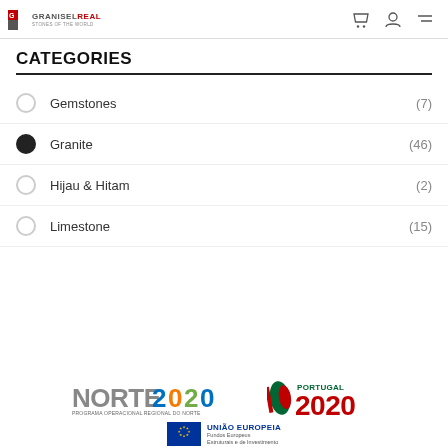GraniselReal — Stones of the World
CATEGORIES
Gemstones (7)
Granite (46)
Hijau & Hitam (2)
Limestone (15)
[Figure (logo): Norte 2020, Portugal 2020, and União Europeia / Fundos Europeus Estruturais e de Investimento logos]